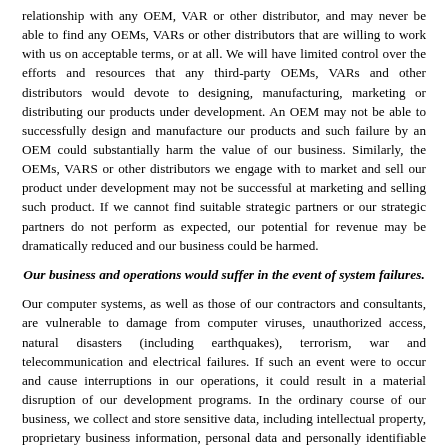relationship with any OEM, VAR or other distributor, and may never be able to find any OEMs, VARs or other distributors that are willing to work with us on acceptable terms, or at all. We will have limited control over the efforts and resources that any third-party OEMs, VARs and other distributors would devote to designing, manufacturing, marketing or distributing our products under development. An OEM may not be able to successfully design and manufacture our products and such failure by an OEM could substantially harm the value of our business. Similarly, the OEMs, VARS or other distributors we engage with to market and sell our product under development may not be successful at marketing and selling such product. If we cannot find suitable strategic partners or our strategic partners do not perform as expected, our potential for revenue may be dramatically reduced and our business could be harmed.
Our business and operations would suffer in the event of system failures.
Our computer systems, as well as those of our contractors and consultants, are vulnerable to damage from computer viruses, unauthorized access, natural disasters (including earthquakes), terrorism, war and telecommunication and electrical failures. If such an event were to occur and cause interruptions in our operations, it could result in a material disruption of our development programs. In the ordinary course of our business, we collect and store sensitive data, including intellectual property, proprietary business information, personal data and personally identifiable information of our clinical trial subjects and employees, on our networks. The secure processing, maintenance and transmission of this information is critical to our operations. Despite our security measures, our information technology and infrastructure may be vulnerable to attacks by hackers or internal bad actors, or breached due to employee error, a technical vulnerability, malfeasance or other disruptions. Although, to our